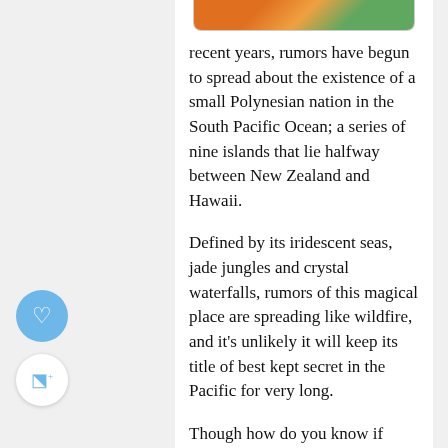[Figure (photo): Partial image of a tropical scene visible at the top of the page, cropped]
recent years, rumors have begun to spread about the existence of a small Polynesian nation in the South Pacific Ocean; a series of nine islands that lie halfway between New Zealand and Hawaii.
Defined by its iridescent seas, jade jungles and crystal waterfalls, rumors of this magical place are spreading like wildfire, and it’s unlikely it will keep its title of best kept secret in the Pacific for very long.
Though how do you know if Samoa is a country for you?
Even though it’s is a pretty safe bet in terms of an incredible vacation,